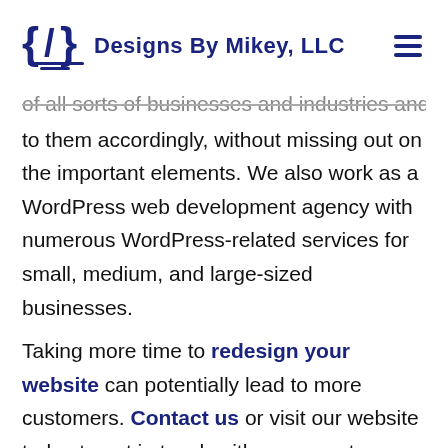[Figure (logo): Designs By Mikey, LLC logo with curly brace and slash icon in dark blue, followed by company name text]
of all sorts of businesses and industries and cater to them accordingly, without missing out on the important elements. We also work as a WordPress web development agency with numerous WordPress-related services for small, medium, and large-sized businesses.
Taking more time to redesign your website can potentially lead to more customers. Contact us or visit our website today to get in touch with our experts.